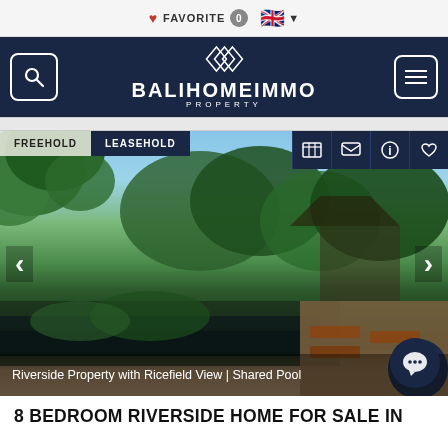FAVORITE 0
[Figure (screenshot): BaliHomeImmo property website header with logo, search and menu buttons on dark navy background]
[Figure (photo): Riverside property photo showing a pool area surrounded by tropical greenery, rice field view, with FREEHOLD and LEASEHOLD tabs and navigation icons. Caption: Riverside Property with Ricefield View | Shared Pool]
Riverside Property with Ricefield View | Shared Pool
8 BEDROOM RIVERSIDE HOME FOR SALE IN